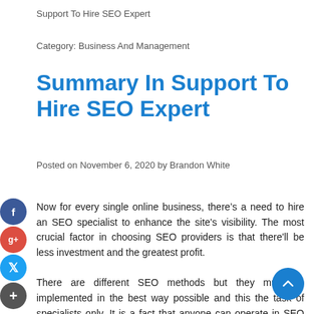Support To Hire SEO Expert
Category: Business And Management
Summary In Support To Hire SEO Expert
Posted on November 6, 2020 by Brandon White
Now for every single online business, there’s a need to hire an SEO specialist to enhance the site's visibility. The most crucial factor in choosing SEO providers is that there'll be less investment and the greatest profit.
There are different SEO methods but they must be implemented in the best way possible and this the task of specialists only. It is a fact that anyone can operate in SEO but what’s the utilization of work which is successful?